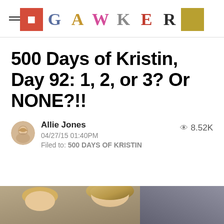GAWKER
500 Days of Kristin, Day 92: 1, 2, or 3? Or NONE?!!
Allie Jones
04/27/15 01:40PM
Filed to: 500 DAYS OF KRISTIN
8.52K
[Figure (photo): Partial photo of a blonde woman, cropped at bottom of page]